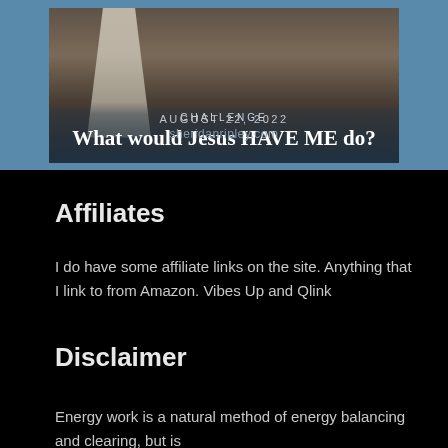[Figure (photo): Blog post card with a robed figure walking away on a dirt path, overlaid with text 'CHALLENGE' and 'What would Jesus HAVE ME do?', dated August 22, 2022, from sheridanripley.com]
Affiliates
I do have some affiliate links on the site. Anything that I link to from Amazon. Vibes Up and Qlink
Disclaimer
Energy work is a natural method of energy balancing and clearing, but is